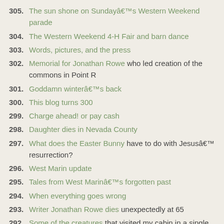305. The sun shone on Sundayâ€™s Western Weekend parade
304. The Western Weekend 4-H Fair and barn dance
303. Words, pictures, and the press
302. Memorial for Jonathan Rowe who led creation of the commons in Point R
301. Goddamn winterâ€™s back
300. This blog turns 300
299. Charge ahead! or pay cash
298. Daughter dies in Nevada County
297. What does the Easter Bunny have to do with Jesusâ€™ resurrection?
296. West Marin update
295. Tales from West Marinâ€™s forgotten past
294. When everything goes wrong
293. Writer Jonathan Rowe dies unexpectedly at 65
292. Some of the creatures that visited my cabin in a single day
291. Finding small absurdities in the midst of major crises